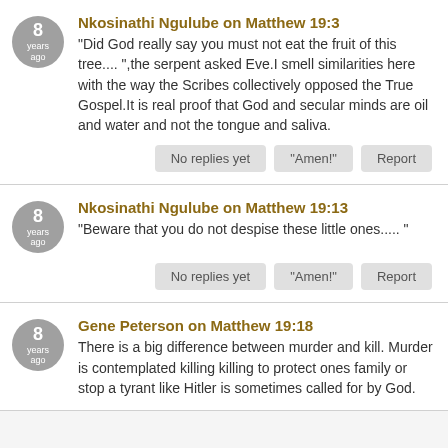Nkosinathi Ngulube on Matthew 19:3
"Did God really say you must not eat the fruit of this tree.... ",the serpent asked Eve.I smell similarities here with the way the Scribes collectively opposed the True Gospel.It is real proof that God and secular minds are oil and water and not the tongue and saliva.
Nkosinathi Ngulube on Matthew 19:13
"Beware that you do not despise these little ones..... "
Gene Peterson on Matthew 19:18
There is a big difference between murder and kill. Murder is contemplated killing killing to protect ones family or stop a tyrant like Hitler is sometimes called for by God.